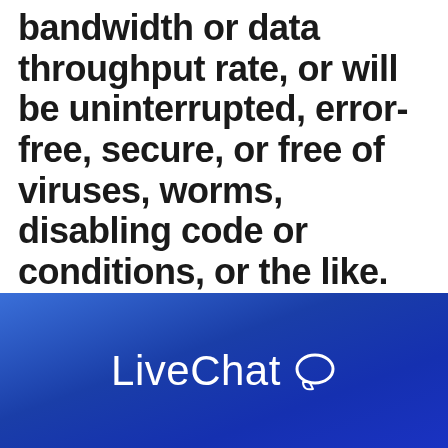bandwidth or data throughput rate, or will be uninterrupted, error-free, secure, or free of viruses, worms, disabling code or conditions, or the like. IT&E shall not be liable for loss of your data, or if changes in operation, procedures, or services require modification or alteration of your
[Figure (other): LiveChat branding bar with blue gradient background and white LiveChat text with chat bubble icon]